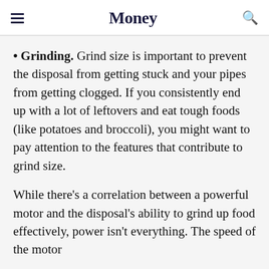Money
Grinding. Grind size is important to prevent the disposal from getting stuck and your pipes from getting clogged. If you consistently end up with a lot of leftovers and eat tough foods (like potatoes and broccoli), you might want to pay attention to the features that contribute to grind size.
While there’s a correlation between a powerful motor and the disposal’s ability to grind up food effectively, power isn’t everything. The speed of the motor